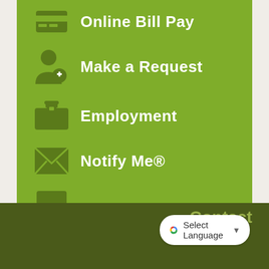Online Bill Pay
Make a Request
Employment
Notify Me®
Agendas & Minutes
Contact
[Figure (screenshot): Google Translate widget button showing 'Select Language' with dropdown arrow]